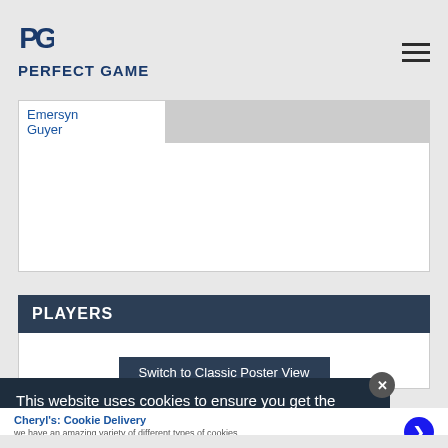PERFECT GAME
| Emersyn Guyer |  |
PLAYERS
Switch to Classic Poster View
This website uses cookies to ensure you get the
Cheryl's: Cookie Delivery
we have an amazing variety of different types of cookies
cheryls.com